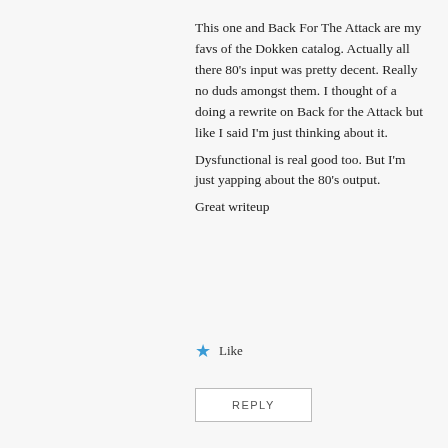This one and Back For The Attack are my favs of the Dokken catalog. Actually all there 80's input was pretty decent. Really no duds amongst them. I thought of a doing a rewrite on Back for the Attack but like I said I'm just thinking about it.
Dysfunctional is real good too. But I'm just yapping about the 80's output.
Great writeup
Like
REPLY
Privacy & Cookies: This site uses cookies. By continuing to use this website, you agree to their use.
To find out more, including how to control cookies, see here: Cookie Policy
Close and accept